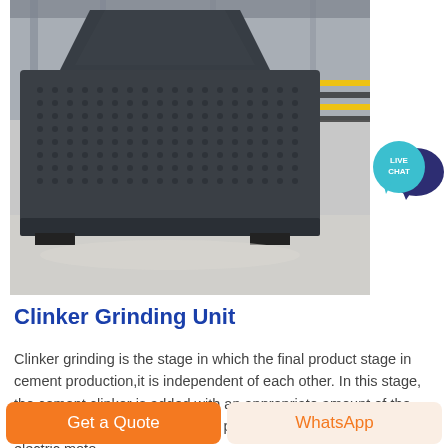[Figure (photo): Large industrial clinker grinding unit machine on a factory floor, dark metal perforated casing, warehouse background with yellow safety markings]
[Figure (illustration): Live Chat speech bubble icon — teal circle with white text LIVE CHAT and dark blue chat bubble behind]
Clinker Grinding Unit
Clinker grinding is the stage in which the final product stage in cement production,it is independent of each other. In this stage, the cement clinker is added with an appropriate amount of the mixed material,it is be ground to produce finished cement. The electric moto…
GET PRICE
Get a Quote
WhatsApp